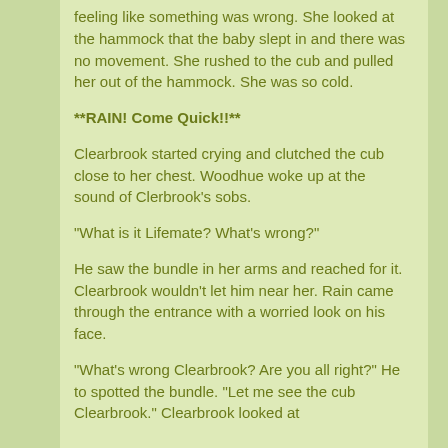feeling like something was wrong. She looked at the hammock that the baby slept in and there was no movement. She rushed to the cub and pulled her out of the hammock. She was so cold.
**RAIN! Come Quick!!**
Clearbrook started crying and clutched the cub close to her chest. Woodhue woke up at the sound of Clerbrook's sobs.
"What is it Lifemate? What's wrong?"
He saw the bundle in her arms and reached for it. Clearbrook wouldn't let him near her. Rain came through the entrance with a worried look on his face.
"What's wrong Clearbrook? Are you all right?" He to spotted the bundle. "Let me see the cub Clearbrook." Clearbrook looked at